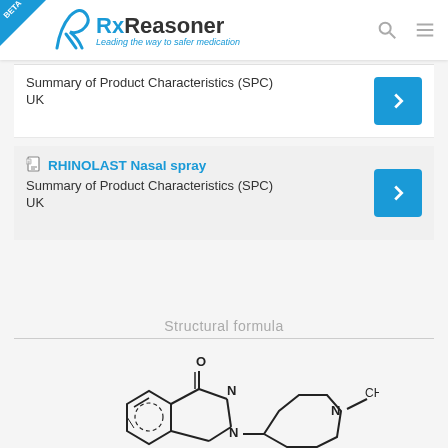RxReasoner - Leading the way to safer medication
Summary of Product Characteristics (SPC)
UK
RHINOLAST Nasal spray
Summary of Product Characteristics (SPC)
UK
Structural formula
[Figure (engineering-diagram): Structural chemical formula of azelastine showing a benzazepinone ring with a methylhexahydroazepine substituent and pyridazine ring with nitrogen atoms labeled]